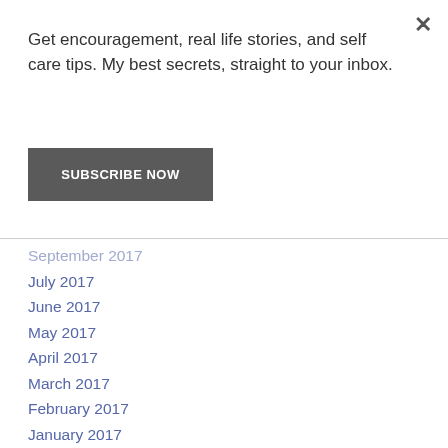×
Get encouragement, real life stories, and self care tips. My best secrets, straight to your inbox.
SUBSCRIBE NOW
September 2017
July 2017
June 2017
May 2017
April 2017
March 2017
February 2017
January 2017
December 2016